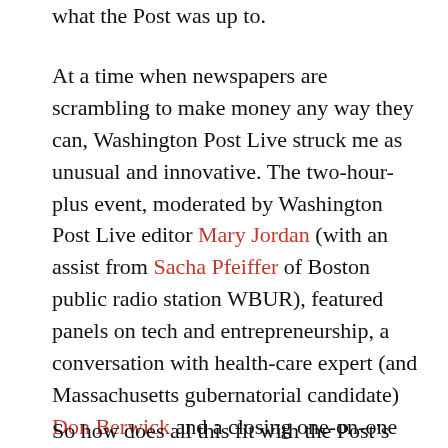what the Post was up to.
At a time when newspapers are scrambling to make money any way they can, Washington Post Live struck me as unusual and innovative. The two-hour-plus event, moderated by Washington Post Live editor Mary Jordan (with an assist from Sacha Pfeiffer of Boston public radio station WBUR), featured panels on tech and entrepreneurship, a conversation with health-care expert (and Massachusetts gubernatorial candidate) Don Berwick and a closing one-on-one between Jordan and humorist/curmudgeon P.J. O'Rourke, who was on hand to flog a new book. (Jordan: “Do you like your cell phone at least?” O’Rourke: “No.”)
So how does all this fit with the Post's business